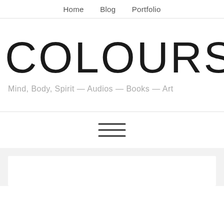Home   Blog   Portfolio
COLOURSTO
Mind, Body, Spirit — Audios — Books — Art
[Figure (other): Hamburger menu icon — three horizontal lines stacked vertically]
[Figure (other): White content card on light grey background, partially visible at bottom of page]